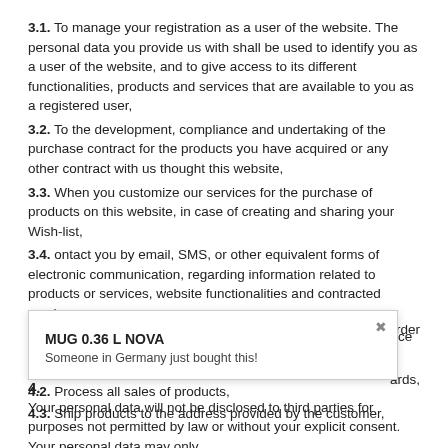3.1. To manage your registration as a user of the website. The personal data you provide us with shall be used to identify you as a user of the website, and to give access to its different functionalities, products and services that are available to you as a registered user,
3.2. To the development, compliance and undertaking of the purchase contract for the products you have acquired or any other contract with us thought this website,
3.3. When you customize our services for the purchase of products on this website, in case of creating and sharing your Wish-list,
3.4. ontact you by email, SMS, or other equivalent forms of electronic communication, regarding information related to products or services, website functionalities and contracted services,
3.5. Attend and manage your requests through customer service channels, as well as monitoring to quality of service provided.
4.
Your personal data will not be disclosed to third parties for purposes not permitted by law or without your explicit consent. Your personal data may only
[Figure (other): Popup notification overlay showing 'MUG 0.36 L NOVA' and 'Someone in Germany just bought this!']
s an order
ards,
4.2. Process all sales of products,
4.3. Ship products to the address provided by the customer,